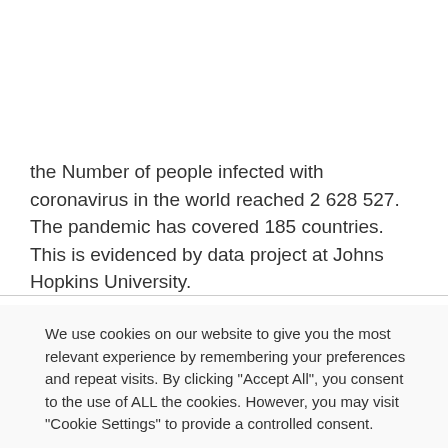the Number of people infected with coronavirus in the world reached 2 628 527. The pandemic has covered 185 countries. This is evidenced by data project at Johns Hopkins University.
We use cookies on our website to give you the most relevant experience by remembering your preferences and repeat visits. By clicking "Accept All", you consent to the use of ALL the cookies. However, you may visit "Cookie Settings" to provide a controlled consent.